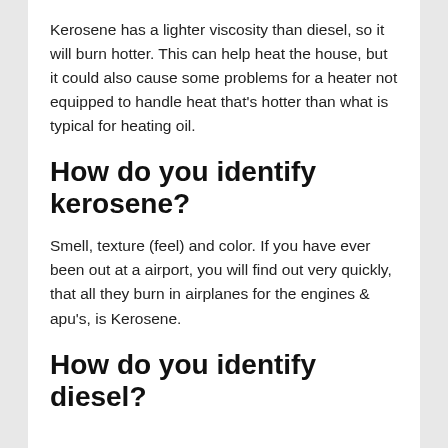Kerosene has a lighter viscosity than diesel, so it will burn hotter. This can help heat the house, but it could also cause some problems for a heater not equipped to handle heat that's hotter than what is typical for heating oil.
How do you identify kerosene?
Smell, texture (feel) and color. If you have ever been out at a airport, you will find out very quickly, that all they burn in airplanes for the engines & apu's, is Kerosene.
How do you identify diesel?